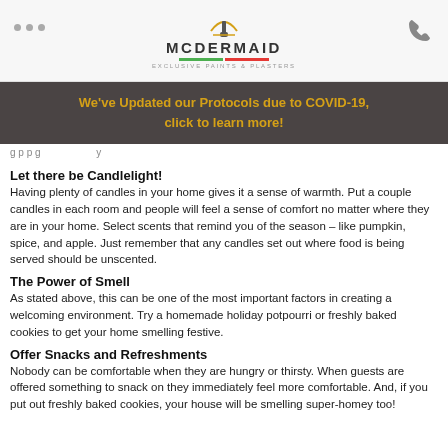[Figure (logo): McDermaid Exclusive Paints & Plasters logo with paintbrush icon, green and red horizontal rules, and tagline]
We've Updated our Protocols due to COVID-19, click to learn more!
g p p g y
Let there be Candlelight!
Having plenty of candles in your home gives it a sense of warmth. Put a couple candles in each room and people will feel a sense of comfort no matter where they are in your home. Select scents that remind you of the season – like pumpkin, spice, and apple. Just remember that any candles set out where food is being served should be unscented.
The Power of Smell
As stated above, this can be one of the most important factors in creating a welcoming environment. Try a homemade holiday potpourri or freshly baked cookies to get your home smelling festive.
Offer Snacks and Refreshments
Nobody can be comfortable when they are hungry or thirsty. When guests are offered something to snack on they immediately feel more comfortable. And, if you put out freshly baked cookies, your house will be smelling super-homey too!